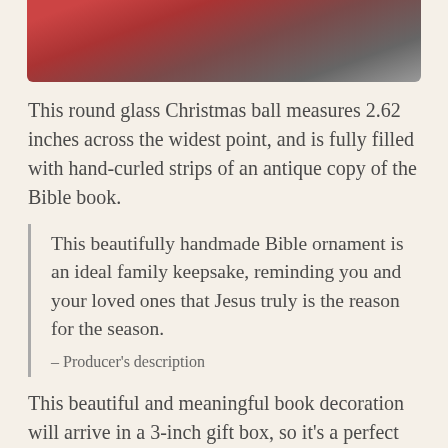[Figure (photo): Top portion of a photo showing a Christmas ornament scene with red and muted colors, partially cropped at top of page]
This round glass Christmas ball measures 2.62 inches across the widest point, and is fully filled with hand-curled strips of an antique copy of the Bible book.
This beautifully handmade Bible ornament is an ideal family keepsake, reminding you and your loved ones that Jesus truly is the reason for the season.

– Producer's description
This beautiful and meaningful book decoration will arrive in a 3-inch gift box, so it's a perfect holiday gift for a book lover in your life.